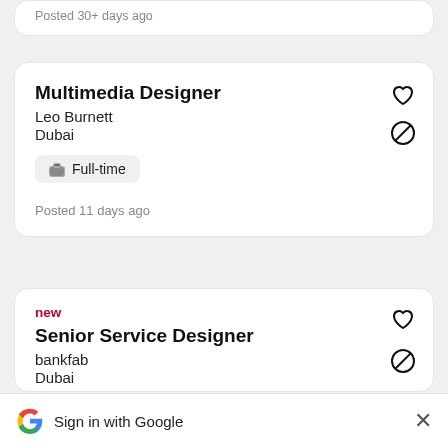Posted 30+ days ago
Multimedia Designer
Leo Burnett
Dubai
Full-time
Posted 11 days ago
new
Senior Service Designer
bankfab
Dubai
Full-time
Sign in with Google